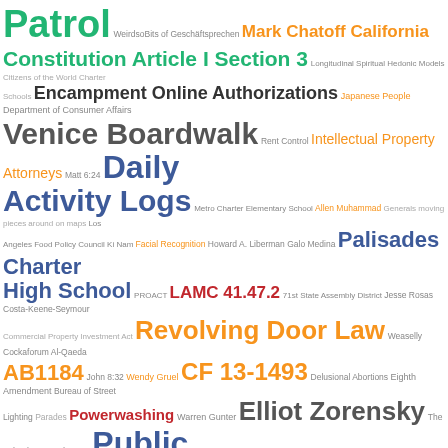[Figure (infographic): Word cloud containing various terms related to Los Angeles government, public policy, legal matters, and community topics. Terms vary in size, color, and font weight to indicate relative frequency or importance.]